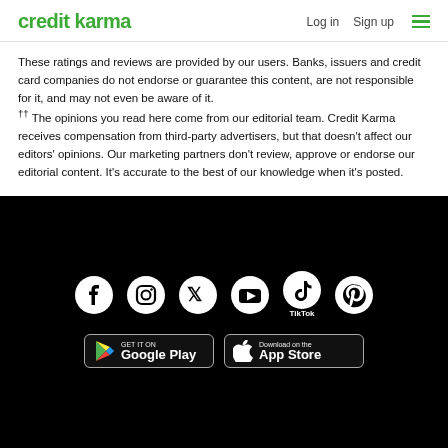credit karma  Log in  Sign up
These ratings and reviews are provided by our users. Banks, issuers and credit card companies do not endorse or guarantee this content, are not responsible for it, and may not even be aware of it.
†† The opinions you read here come from our editorial team. Credit Karma receives compensation from third-party advertisers, but that doesn't affect our editors' opinions. Our marketing partners don't review, approve or endorse our editorial content. It's accurate to the best of our knowledge when it's posted.
[Figure (logo): Social media icons: Facebook, Instagram, Twitter, YouTube, TikTok, Pinterest — white on black background]
[Figure (infographic): App store download buttons: GET IT ON Google Play and Download on the App Store]